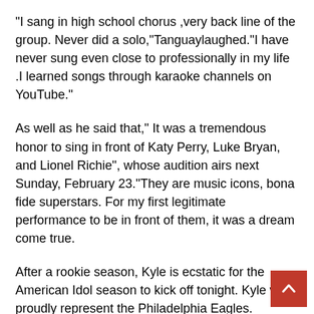“I sang in high school chorus ,very back line of the group. Never did a solo,“Tanguaylaughed.“I have never sung even close to professionally in my life .I learned songs through karaoke channels on YouTube.”
As well as he said that,” It was a tremendous honor to sing in front of Katy Perry, Luke Bryan, and Lionel Richie”, whose audition airs next Sunday, February 23.“They are music icons, bona fide superstars. For my first legitimate performance to be in front of them, it was a dream come true.
After a rookie season, Kyle is ecstatic for the American Idol season to kick off tonight. Kyle will proudly represent the Philadelphia Eagles.
Finally he said that ,“I’m so excited and proud to bring